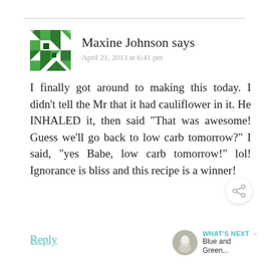[Figure (illustration): Green and white geometric/mosaic avatar icon for commenter Maxine Johnson]
Maxine Johnson says
April 21, 2013 at 6:41 pm
I finally got around to making this today. I didn't tell the Mr that it had cauliflower in it. He INHALED it, then said “That was awesome! Guess we’ll go back to low carb tomorrow?” I said, “yes Babe, low carb tomorrow!” lol! Ignorance is bliss and this recipe is a winner!
Reply
[Figure (illustration): Share icon (connected nodes) in a circular button]
WHAT’S NEXT → Blue and Green...